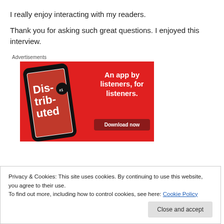I really enjoy interacting with my readers.
Thank you for asking such great questions. I enjoyed this interview.
Advertisements
[Figure (illustration): Advertisement banner for a podcast app called 'Distributed'. Red background with a smartphone showing the app. Text reads 'An app by listeners, for listeners.' with a 'Download now' button.]
Privacy & Cookies: This site uses cookies. By continuing to use this website, you agree to their use.
To find out more, including how to control cookies, see here: Cookie Policy
Close and accept